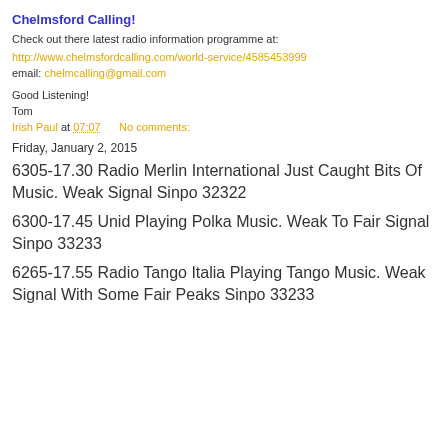Chelmsford Calling!
Check out there latest radio information programme at:
http://www.chelmsfordcalling.com/world-service/4585453999
email: chelmcalling@gmail.com
Good Listening!
Tom
Irish Paul at 07:07    No comments:
Friday, January 2, 2015
6305-17.30 Radio Merlin International Just Caught Bits Of Music. Weak Signal Sinpo 32322
6300-17.45 Unid Playing Polka Music. Weak To Fair Signal Sinpo 33233
6265-17.55 Radio Tango Italia Playing Tango Music. Weak Signal With Some Fair Peaks Sinpo 33233